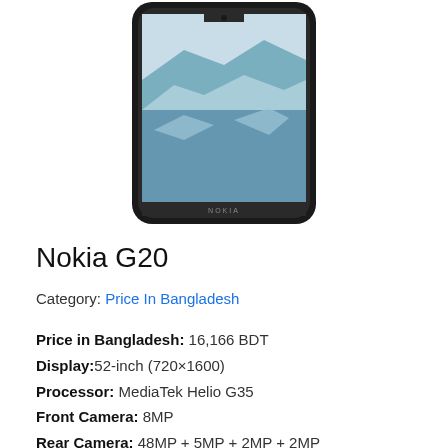[Figure (photo): Nokia G20 smartphone product photo showing the front face of the phone with a landscape/glacier wallpaper on display, in a dark frame, with NOKIA branding visible at the bottom of the device.]
Nokia G20
Category: Price In Bangladesh
Price in Bangladesh: 16,166 BDT
Display:52-inch (720×1600)
Processor: MediaTek Helio G35
Front Camera: 8MP
Rear Camera: 48MP + 5MP + 2MP + 2MP
RAM: 4GB
Storage: 64GB